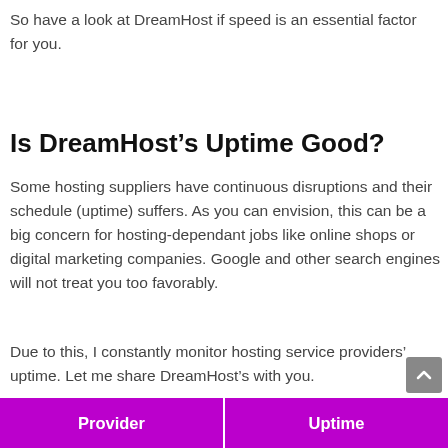So have a look at DreamHost if speed is an essential factor for you.
Is DreamHost’s Uptime Good?
Some hosting suppliers have continuous disruptions and their schedule (uptime) suffers. As you can envision, this can be a big concern for hosting-dependant jobs like online shops or digital marketing companies. Google and other search engines will not treat you too favorably.
Due to this, I constantly monitor hosting service providers’ uptime. Let me share DreamHost’s with you.
| Provider | Uptime |
| --- | --- |